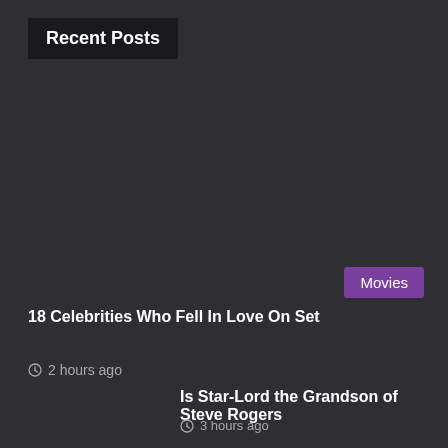Recent Posts
Movies
18 Celebrities Who Fell In Love On Set
2 hours ago
Is Star-Lord the Grandson of Steve Rogers
3 hours ago